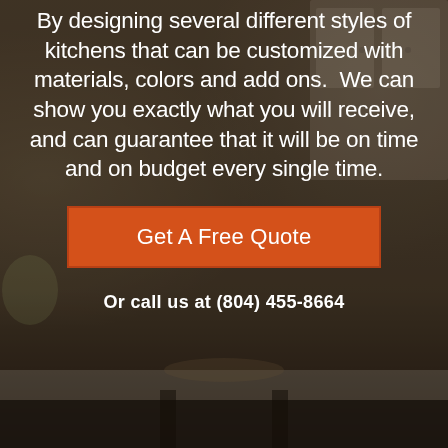By designing several different styles of kitchens that can be customized with materials, colors and add ons.  We can show you exactly what you will receive, and can guarantee that it will be on time and on budget every single time.
[Figure (other): Orange 'Get A Free Quote' call-to-action button]
Or call us at (804) 455-8664